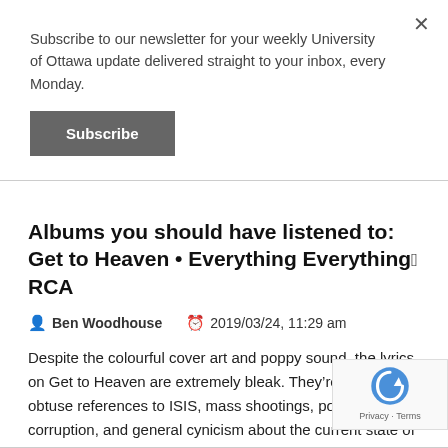Subscribe to our newsletter for your weekly University of Ottawa update delivered straight to your inbox, every Monday.
Subscribe
Albums you should have listened to: Get to Heaven • Everything Everything@ RCA
Ben Woodhouse   2019/03/24, 11:29 am
Despite the colourful cover art and poppy sound, the lyrics on Get to Heaven are extremely bleak. They're filled with obtuse references to ISIS, mass shootings, political corruption, and general cynicism about the current state of affairs.